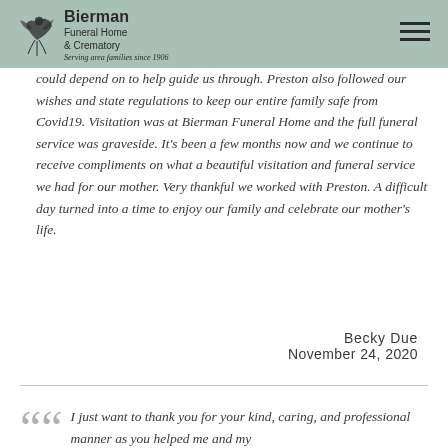Bierman Funeral Home & Crematory — Serving area families since 1906
could depend on to help guide us through. Preston also followed our wishes and state regulations to keep our entire family safe from Covid19. Visitation was at Bierman Funeral Home and the full funeral service was graveside. It's been a few months now and we continue to receive compliments on what a beautiful visitation and funeral service we had for our mother. Very thankful we worked with Preston. A difficult day turned into a time to enjoy our family and celebrate our mother's life.
Becky Due
November 24, 2020
I just want to thank you for your kind, caring, and professional manner as you helped me and my...